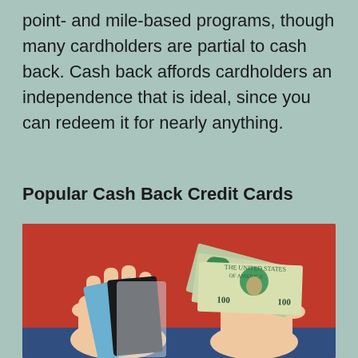point- and mile-based programs, though many cardholders are partial to cash back. Cash back affords cardholders an independence that is ideal, since you can redeem it for nearly anything.
Popular Cash Back Credit Cards
[Figure (photo): Two hands holding credit cards on the left and a fan of US $100 bills on the right, against a red/orange fabric and denim background.]